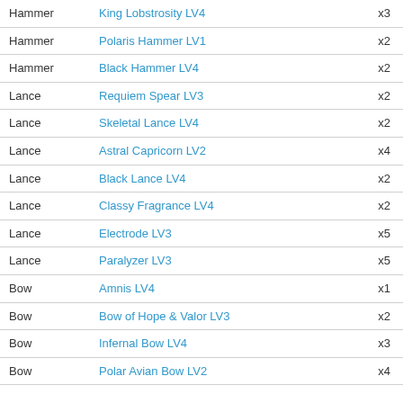| Type | Name | Qty |
| --- | --- | --- |
| Hammer | King Lobstrosity LV4 | x3 |
| Hammer | Polaris Hammer LV1 | x2 |
| Hammer | Black Hammer LV4 | x2 |
| Lance | Requiem Spear LV3 | x2 |
| Lance | Skeletal Lance LV4 | x2 |
| Lance | Astral Capricorn LV2 | x4 |
| Lance | Black Lance LV4 | x2 |
| Lance | Classy Fragrance LV4 | x2 |
| Lance | Electrode LV3 | x5 |
| Lance | Paralyzer LV3 | x5 |
| Bow | Amnis LV4 | x1 |
| Bow | Bow of Hope & Valor LV3 | x2 |
| Bow | Infernal Bow LV4 | x3 |
| Bow | Polar Avian Bow LV2 | x4 |